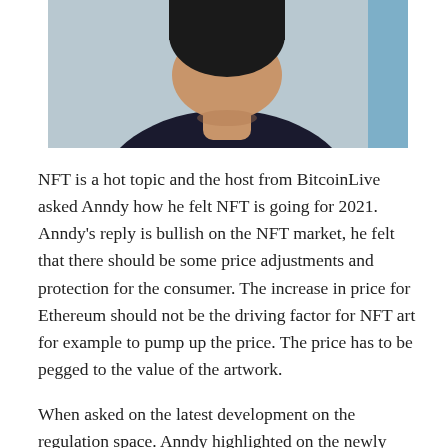[Figure (photo): Partial photo of a person from the chest up, wearing a dark top, with a light blue/grey background. Only the lower face and chin are visible at the top of the frame.]
NFT is a hot topic and the host from BitcoinLive asked Anndy how he felt NFT is going for 2021. Anndy's reply is bullish on the NFT market, he felt that there should be some price adjustments and protection for the consumer. The increase in price for Ethereum should not be the driving factor for NFT art for example to pump up the price. The price has to be pegged to the value of the artwork.
When asked on the latest development on the regulation space. Anndy highlighted on the newly released Defi research paper by South Korea's government (Ministry of Science and NCT).